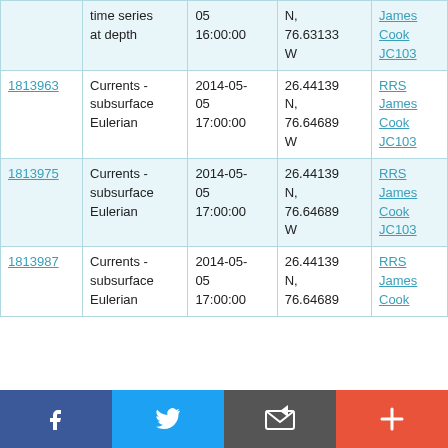|  | time series at depth | 05
16:00:00 | N,
76.63133
W | James
Cook
JC103 |
| 1813963 | Currents - subsurface Eulerian | 2014-05-
05
17:00:00 | 26.44139
N,
76.64689
W | RRS
James
Cook
JC103 |
| 1813975 | Currents - subsurface Eulerian | 2014-05-
05
17:00:00 | 26.44139
N,
76.64689
W | RRS
James
Cook
JC103 |
| 1813987 | Currents - subsurface Eulerian | 2014-05-
05
17:00:00 | 26.44139
N,
76.64689 | RRS
James
Cook |
[Figure (infographic): Social sharing bar with Facebook, Twitter, email/share, and more (+) buttons]